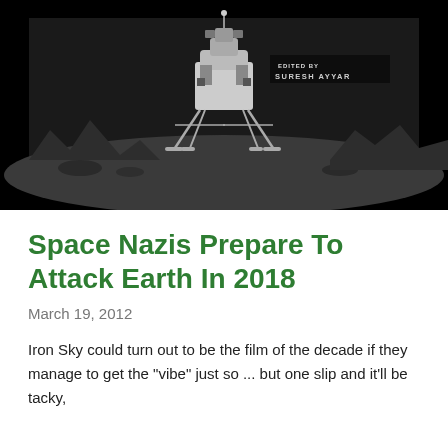[Figure (photo): Black and white image of a lunar lander on the moon's surface with a dark black background. Text overlay reads 'EDITED BY SURESH AYYAR' in the upper right area of the scene.]
Space Nazis Prepare To Attack Earth In 2018
March 19, 2012
Iron Sky could turn out to be the film of the decade if they manage to get the "vibe" just so ... but one slip and it'll be tacky,